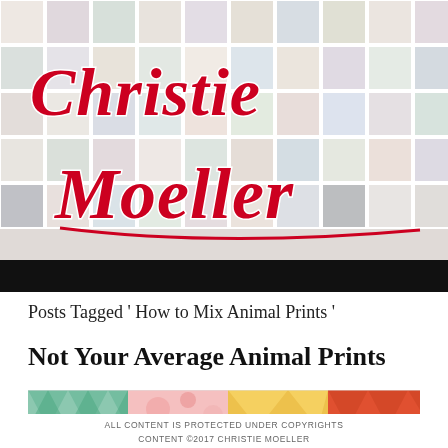[Figure (photo): Header banner with a collage of small polaroid-style photos as background, overlaid with 'Christie Moeller' in red cursive script logo]
Posts Tagged ' How to Mix Animal Prints '
Not Your Average Animal Prints
[Figure (photo): Colorful strip of animal print fabric patterns in red, orange, yellow, green, and pink]
ALL CONTENT IS PROTECTED UNDER COPYRIGHTS CONTENT ©2017 CHRISTIE MOELLER